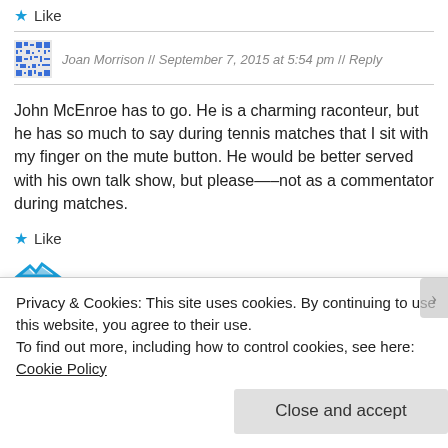★ Like
Joan Morrison // September 7, 2015 at 5:54 pm // Reply
John McEnroe has to go. He is a charming raconteur, but he has so much to say during tennis matches that I sit with my finger on the mute button. He would be better served with his own talk show, but please—–not as a commentator during matches.
★ Like
Privacy & Cookies: This site uses cookies. By continuing to use this website, you agree to their use.
To find out more, including how to control cookies, see here: Cookie Policy
Close and accept